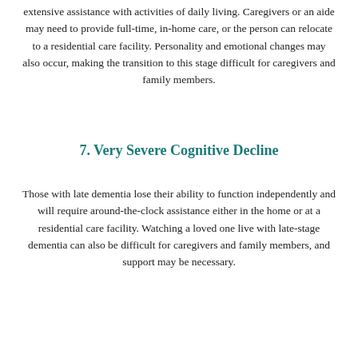extensive assistance with activities of daily living. Caregivers or an aide may need to provide full-time, in-home care, or the person can relocate to a residential care facility. Personality and emotional changes may also occur, making the transition to this stage difficult for caregivers and family members.
7. Very Severe Cognitive Decline
Those with late dementia lose their ability to function independently and will require around-the-clock assistance either in the home or at a residential care facility. Watching a loved one live with late-stage dementia can also be difficult for caregivers and family members, and support may be necessary.